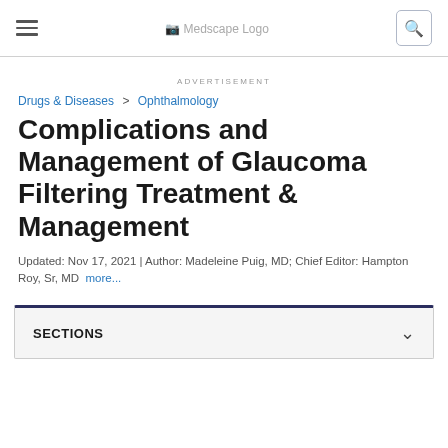Medscape Logo
ADVERTISEMENT
Drugs & Diseases > Ophthalmology
Complications and Management of Glaucoma Filtering Treatment & Management
Updated: Nov 17, 2021 | Author: Madeleine Puig, MD; Chief Editor: Hampton Roy, Sr, MD more...
SECTIONS